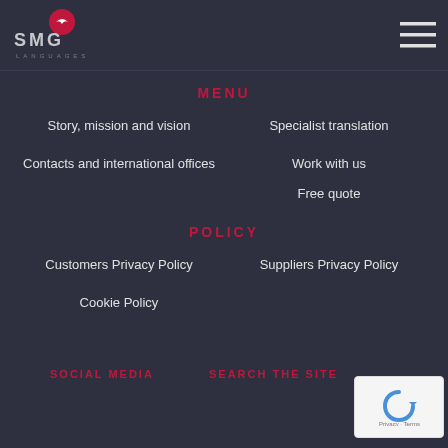[Figure (logo): SMG Languages logo with red circle containing a bird/arrow icon, 'SMG' text in grey, and 'LANGUAGES' subtitle]
[Figure (other): Hamburger menu icon with three horizontal white lines]
MENU
Story, mission and vision
Specialist translation
Contacts and international offices
Work with us
Free quote
POLICY
Customers Privacy Policy
Suppliers Privacy Policy
Cookie Policy
SOCIAL MEDIA
SEARCH THE SITE
[Figure (other): Google reCAPTCHA badge with blue recycling-style arrow logo and Privacy - Terms text]